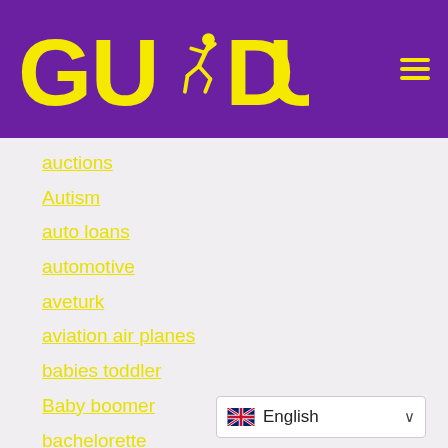[Figure (logo): GUDU logo with yellow bold text and running figure silhouette on purple background, with hamburger menu icon]
auctions
Autism
auto loans
automotive
aveturk
aviation air planes
babies toddler
Baby boomer
bachelorette
back pain
Bandar Judi
bandar judi online
English